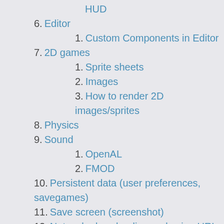HUD
6. Editor
1. Custom Components in Editor
7. 2D games
1. Sprite sheets
2. Images
3. How to render 2D images/sprites
8. Physics
9. Sound
1. OpenAL
2. FMOD
10. Persistent data (user preferences, savegames)
11. Save screen (screenshot)
12. Network, downloading and using URLs
13. Logging
14. Cross-platform (desktop, mobile, consoles...) projects
1. Data directory